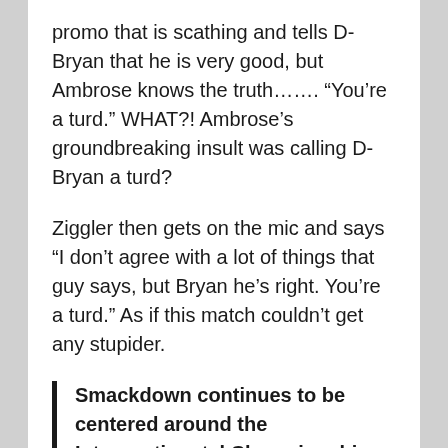promo that is scathing and tells D-Bryan that he is very good, but Ambrose knows the truth……. “You’re a turd.” WHAT?! Ambrose’s groundbreaking insult was calling D-Bryan a turd?
Ziggler then gets on the mic and says “I don’t agree with a lot of things that guy says, but Bryan he’s right. You’re a turd.” As if this match couldn’t get any stupider.
Smackdown continues to be centered around the Intercontinental Championship which would be great if the division was the WWE’s sad attempt to compete with